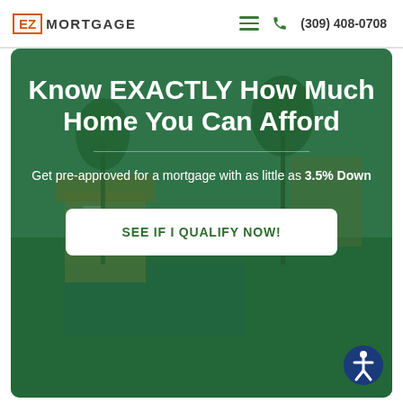[Figure (logo): EZ Mortgage logo with orange bordered box around 'EZ' and dark text 'MORTGAGE']
[Figure (infographic): Navigation hamburger menu icon (three green horizontal lines) and a phone icon with phone number (309) 408-0708]
[Figure (photo): Hero banner with a green-tinted background photo of a home/pool area with palm trees. Contains headline, subtext, and CTA button.]
Know EXACTLY How Much Home You Can Afford
Get pre-approved for a mortgage with as little as 3.5% Down
SEE IF I QUALIFY NOW!